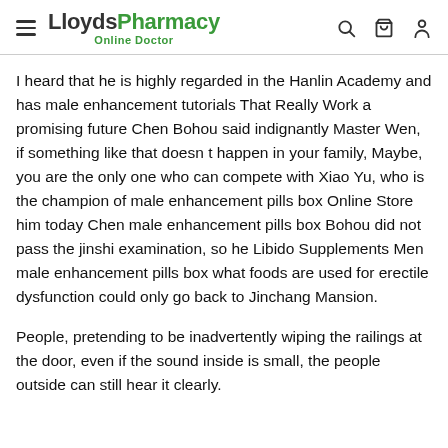LloydsPharmacy Online Doctor
I heard that he is highly regarded in the Hanlin Academy and has male enhancement tutorials That Really Work a promising future Chen Bohou said indignantly Master Wen, if something like that doesn t happen in your family, Maybe, you are the only one who can compete with Xiao Yu, who is the champion of male enhancement pills box Online Store him today Chen male enhancement pills box Bohou did not pass the jinshi examination, so he Libido Supplements Men male enhancement pills box what foods are used for erectile dysfunction could only go back to Jinchang Mansion.
People, pretending to be inadvertently wiping the railings at the door, even if the sound inside is small, the people outside can still hear it clearly.